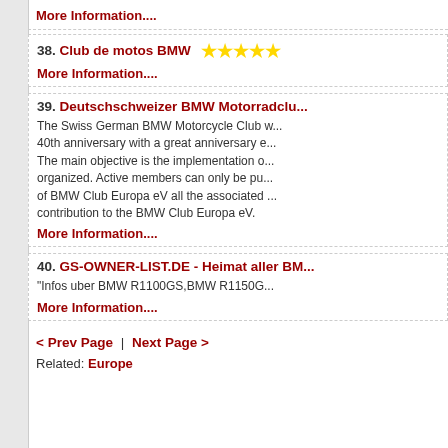More Information....
38. Club de motos BMW ★★★★★
More Information....
39. Deutschschweizer BMW Motorradclub
The Swiss German BMW Motorcycle Club ... 40th anniversary with a great anniversary e... The main objective is the implementation o... organized. Active members can only be pu... of BMW Club Europa eV all the associated... contribution to the BMW Club Europa eV.
More Information....
40. GS-OWNER-LIST.DE - Heimat aller BM...
"Infos uber BMW R1100GS,BMW R1150G...
More Information....
< Prev Page | Next Page >
Related: Europe